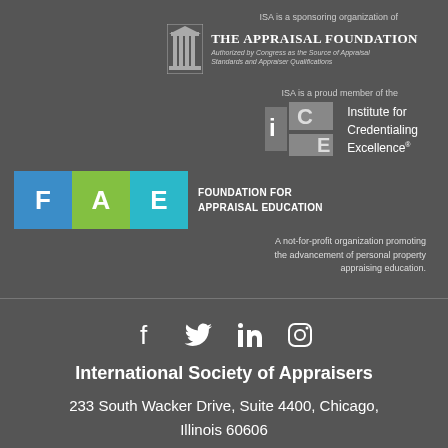ISA is a sponsoring organization of
[Figure (logo): The Appraisal Foundation logo with building icon, title, and subtitle 'Authorized by Congress as the Source of Appraisal Standards and Appraiser Qualifications']
ISA is a proud member of the
[Figure (logo): Institute for Credentialing Excellence (ICE) logo]
[Figure (logo): Foundation for Appraisal Education (FAE) logo with F, A, E colored blocks]
A not-for-profit organization promoting the advancement of personal property appraising education.
[Figure (other): Social media icons: Facebook, Twitter, LinkedIn, Instagram]
International Society of Appraisers
233 South Wacker Drive, Suite 4400, Chicago, Illinois 60606
(312) 981-6778 phone